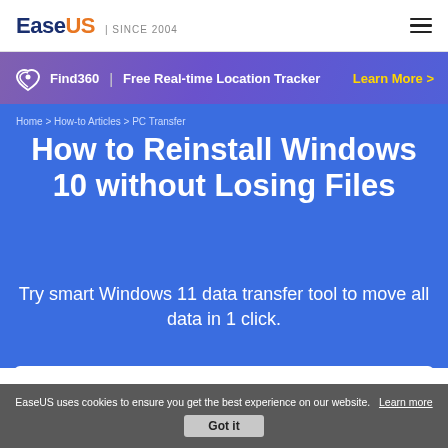EaseUS | SINCE 2004
[Figure (screenshot): EaseUS Find360 banner — Free Real-time Location Tracker with Learn More link]
Home > How-to Articles > PC Transfer
How to Reinstall Windows 10 without Losing Files
Try smart Windows 11 data transfer tool to move all data in 1 click.
EaseUS Todo PCTrans
EaseUS uses cookies to ensure you get the best experience on our website.    Learn more    Got it